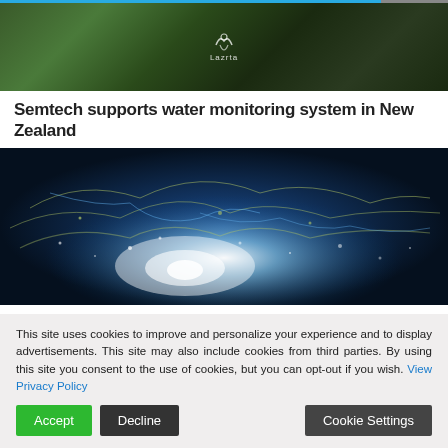[Figure (photo): Blurred outdoor photo with a Lazrta logo/text overlay in white on dark background]
Semtech supports water monitoring system in New Zealand
[Figure (photo): Dark blue abstract network/map image with glowing lines and a bright white glow center, representing a connected water monitoring system map]
This site uses cookies to improve and personalize your experience and to display advertisements. This site may also include cookies from third parties. By using this site you consent to the use of cookies, but you can opt-out if you wish. View Privacy Policy